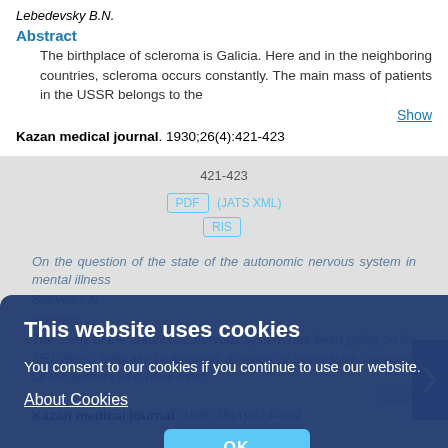Lebedevsky B.N.
Abstract
The birthplace of scleroma is Galicia. Here and in the neighboring countries, scleroma occurs constantly. The main mass of patients in the USSR belongs to the
Show
Kazan medical journal. 1930;26(4):421-423
421-423
This website uses cookies
You consent to our cookies if you continue to use our website.
About Cookies
OK
On the question of the state of the autonomic nervous system in mental illness
Shevelev N.
Abstract
The study of the autonomic nervous system has been going on for 250 years, naturally undergoing a series of successive changes. Of the authors who have most
Show
Kazan medical journal. 1930;26(4):424-429
424-429